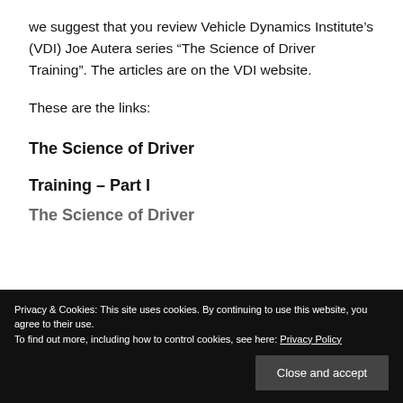we suggest that you review Vehicle Dynamics Institute’s (VDI) Joe Autera series “The Science of Driver Training”. The articles are on the VDI website.
These are the links:
The Science of Driver
Training – Part I
Privacy & Cookies: This site uses cookies. By continuing to use this website, you agree to their use.
To find out more, including how to control cookies, see here: Privacy Policy
The Science of Driver